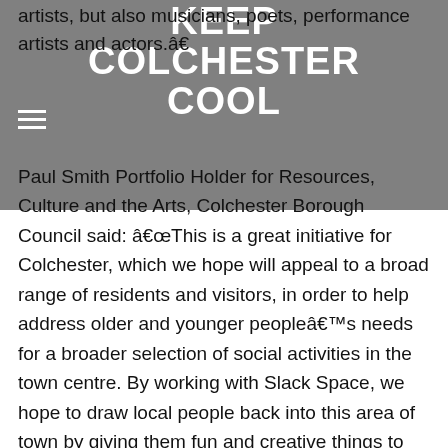artists, but also musicians, poets, performance artists and actors.â€
[Figure (logo): Keep Colchester Cool logo in white bold text on grey background]
Paul Smith Portfolio Holder for Resources, Culture and the Arts, Colchester Borough Council said: â€œThis is a great initiative for Colchester, which we hope will appeal to a broad range of residents and visitors, in order to help address older and younger peopleâ€™s needs for a broader selection of social activities in the town centre. By working with Slack Space, we hope to draw local people back into this area of town by giving them fun and creative things to do. There arenâ€™t any firm rules about what makes up a Cultural Quarter and in Colchester we hope to engage local people in helping to shape the identity of this area now and in the future.â€
Slack Space has always complemented its role as a highly successful community arts gallery with a monthly